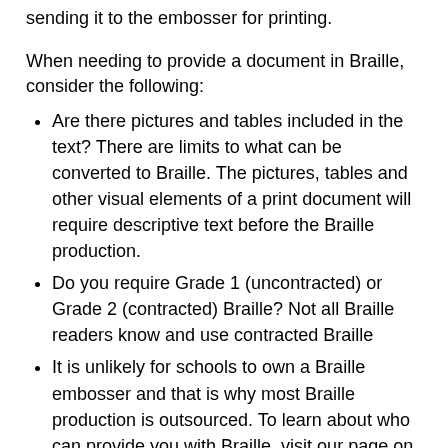sending it to the embosser for printing.
When needing to provide a document in Braille, consider the following:
Are there pictures and tables included in the text? There are limits to what can be converted to Braille. The pictures, tables and other visual elements of a print document will require descriptive text before the Braille production.
Do you require Grade 1 (uncontracted) or Grade 2 (contracted) Braille? Not all Braille readers know and use contracted Braille
It is unlikely for schools to own a Braille embosser and that is why most Braille production is outsourced. To learn about who can provide you with Braille, visit our page on Who Are the Alternative Format Providers?